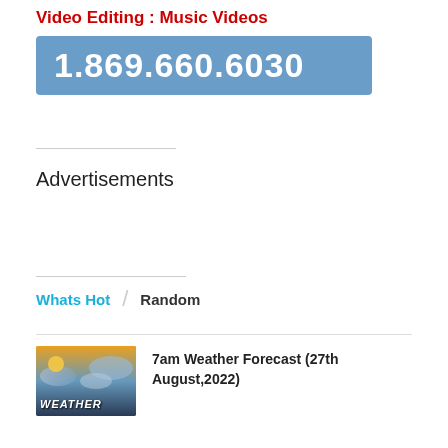Video Editing : Music Videos
1.869.660.6030
Advertisements
Whats Hot  /  Random
[Figure (photo): Weather forecast thumbnail image showing a sunrise/sunset sky with the word WEATHER in bold stylized text]
7am Weather Forecast (27th August,2022)